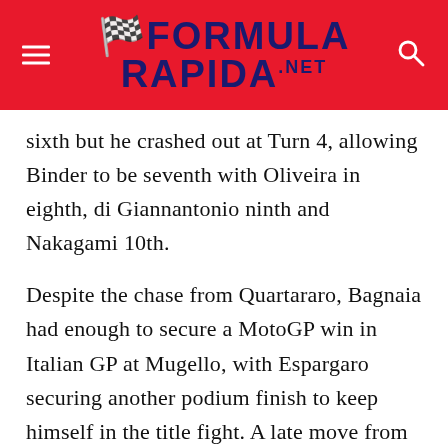FORMULA RAPIDA.NET
sixth but he crashed out at Turn 4, allowing Binder to be seventh with Oliveira in eighth, di Giannantonio ninth and Nakagami 10th.
Despite the chase from Quartararo, Bagnaia had enough to secure a MotoGP win in Italian GP at Mugello, with Espargaro securing another podium finish to keep himself in the title fight. A late move from Zarco helped him to be fourth from the VR46 pair.
Bezzecchi was fifth from Marini, with Binder in seventh as Nakagami cleared Oliveira for eighth,